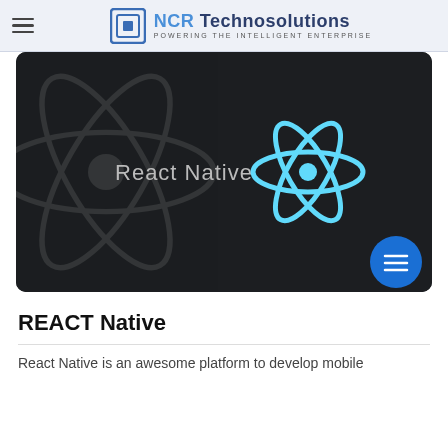NCR Technosolutions — POWERING THE INTELLIGENT ENTERPRISE
[Figure (illustration): Dark hero banner with large React logo in the background (dark grey), text 'React Native' in light grey on the left, and a bright cyan/blue React atom logo on the right. A blue circular FAB button with three horizontal lines is overlaid at the bottom right.]
REACT Native
React Native is an awesome platform to develop mobile